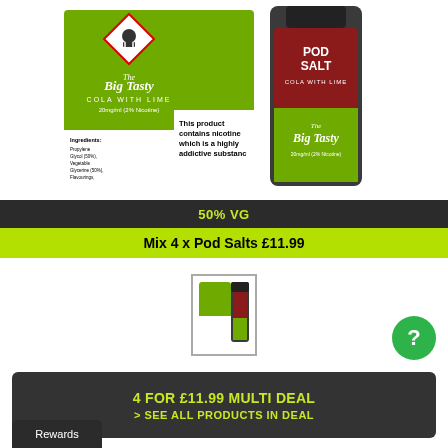[Figure (photo): Product photo of Pod Salt The Big Tasty Cola with Lime 20mg/ml nicotine salt e-liquid box and bottle on white background]
50% VG
Mix 4 x Pod Salts £11.99
[Figure (photo): Small thumbnail image of Pod Salt The Big Tasty Cola with Lime product]
4 FOR £11.99 MULTI DEAL
> SEE ALL PRODUCTS IN DEAL
Rewards